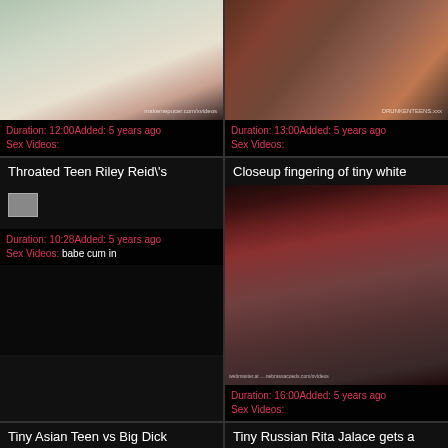[Figure (photo): Thumbnail of blonde woman in black bikini top sitting on red couch]
Duration: 12:00Added: 5 years ago
Sex Videos:
[Figure (photo): Thumbnail of explicit adult content outdoors]
Duration: 13:00Added: 5 years ago
Sex Videos:
Throated Teen Riley Reid\'s
[Figure (photo): Broken image placeholder]
Duration: 10:28Added: 5 years ago
Sex Videos: babe cum in
Closeup fingering of tiny white
[Figure (photo): Closeup explicit adult content thumbnail]
Duration: 16:00Added: 5 years ago
Sex Videos:
Tiny Asian Teen vs Big Dick
Tiny Russian Rita Jalace gets a
[Figure (photo): Broken image placeholder bottom left]
[Figure (photo): Broken image placeholder bottom right]